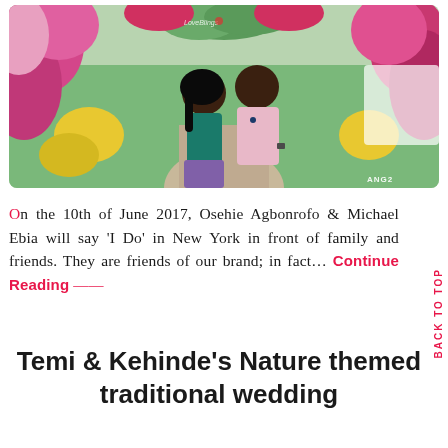[Figure (photo): A couple standing together in a garden with floral arches covered in pink and yellow flowers. The woman wears a teal top and floral skirt, the man wears a pink shirt. Watermark reads LoveBlings. Credit reads ANG2.]
On the 10th of June 2017, Osehie Agbonrofo & Michael Ebia will say 'I Do' in New York in front of family and friends. They are friends of our brand; in fact… Continue Reading —
Temi & Kehinde's Nature themed traditional wedding